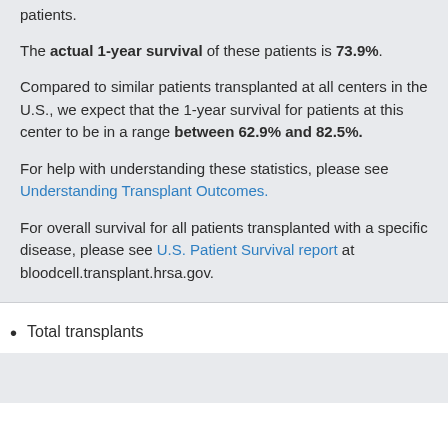patients.
The actual 1-year survival of these patients is 73.9%.
Compared to similar patients transplanted at all centers in the U.S., we expect that the 1-year survival for patients at this center to be in a range between 62.9% and 82.5%.
For help with understanding these statistics, please see Understanding Transplant Outcomes.
For overall survival for all patients transplanted with a specific disease, please see U.S. Patient Survival report at bloodcell.transplant.hrsa.gov.
Total transplants